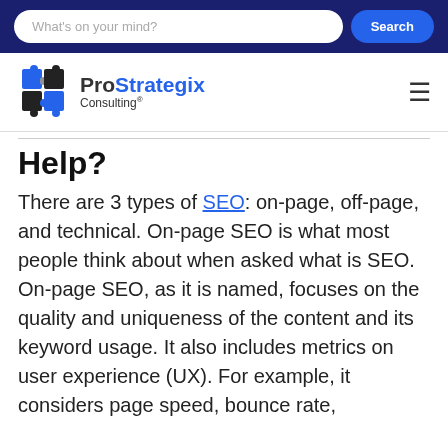What's on your mind? Search
[Figure (logo): ProStrategix Consulting logo with puzzle piece icon and hamburger menu]
Help?
There are 3 types of SEO: on-page, off-page, and technical. On-page SEO is what most people think about when asked what is SEO. On-page SEO, as it is named, focuses on the quality and uniqueness of the content and its keyword usage. It also includes metrics on user experience (UX). For example, it considers page speed, bounce rate,